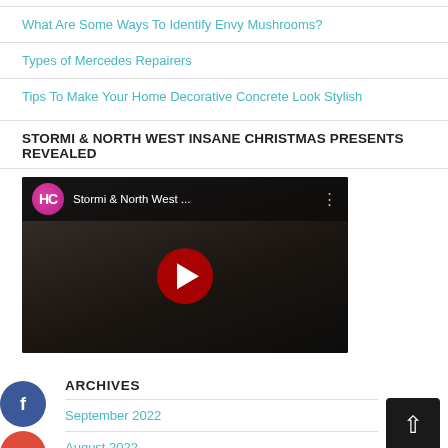What Are Some Ways To Identify Envy Mushrooms?
Types of Mercedes Repairers
Tips To Make Your Home Decorative Concrete Look Stylish
STORMI & NORTH WEST INSANE CHRISTMAS PRESENTS REVEALED
[Figure (screenshot): YouTube video thumbnail showing Stormi & North West with HC logo, play button, and video title 'Stormi & North West ...']
[Figure (infographic): Social media share buttons: Facebook (blue), Google+ (red), Twitter (blue), and a black plus button]
ARCHIVES
September 2022
August 2022